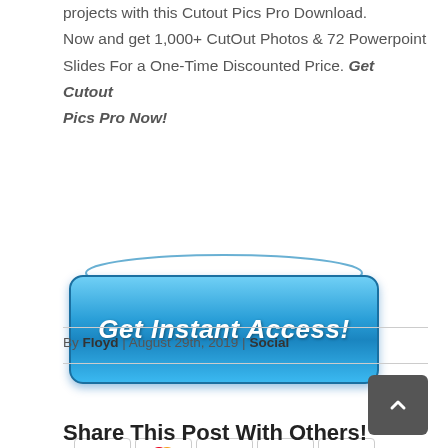projects with this Cutout Pics Pro Download. Now and get 1,000+ CutOut Photos & 72 Powerpoint Slides For a One-Time Discounted Price. Get Cutout Pics Pro Now!
[Figure (screenshot): A blue gradient 'Get Instant Access!' button with an oval shadow above it, and payment icons (VISA, Mastercard, AMEX, Cirrus, PayPal) below it.]
By Floyd | August 29th, 2019 | Social
Share This Post With Others!